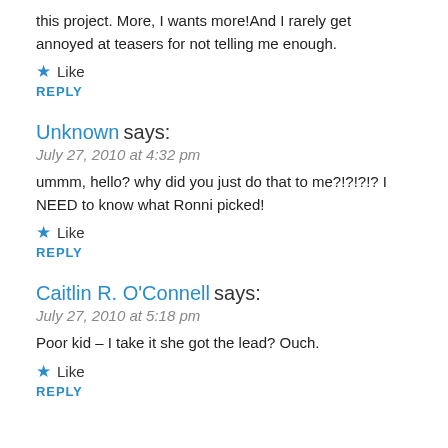this project. More, I wants more!And I rarely get annoyed at teasers for not telling me enough.
★ Like
REPLY
Unknown says:
July 27, 2010 at 4:32 pm
ummm, hello? why did you just do that to me?!?!?!? I NEED to know what Ronni picked!
★ Like
REPLY
Caitlin R. O'Connell says:
July 27, 2010 at 5:18 pm
Poor kid – I take it she got the lead? Ouch.
★ Like
REPLY